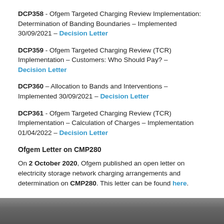DCP358 - Ofgem Targeted Charging Review Implementation: Determination of Banding Boundaries – Implemented 30/09/2021 – Decision Letter
DCP359 - Ofgem Targeted Charging Review (TCR) Implementation – Customers: Who Should Pay? – Decision Letter
DCP360 – Allocation to Bands and Interventions – Implemented 30/09/2021 – Decision Letter
DCP361 - Ofgem Targeted Charging Review (TCR) Implementation – Calculation of Charges – Implementation 01/04/2022 – Decision Letter
Ofgem Letter on CMP280
On 2 October 2020, Ofgem published an open letter on electricity storage network charging arrangements and determination on CMP280. This letter can be found here.
[Figure (photo): Dark photographic footer image at the bottom of the page]